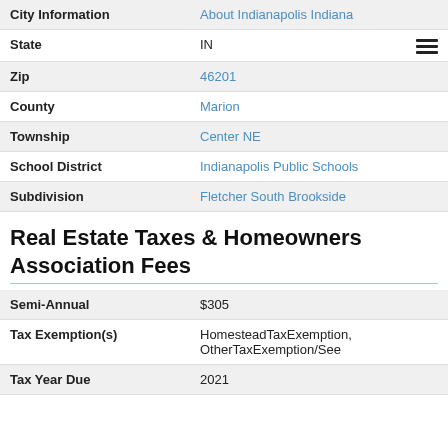| Field | Value |
| --- | --- |
| City Information | About Indianapolis Indiana |
| State | IN |
| Zip | 46201 |
| County | Marion |
| Township | Center NE |
| School District | Indianapolis Public Schools |
| Subdivision | Fletcher South Brookside |
Real Estate Taxes & Homeowners Association Fees
| Field | Value |
| --- | --- |
| Semi-Annual | $305 |
| Tax Exemption(s) | HomesteadTaxExemption, OtherTaxExemption/See |
| Tax Year Due | 2021 |